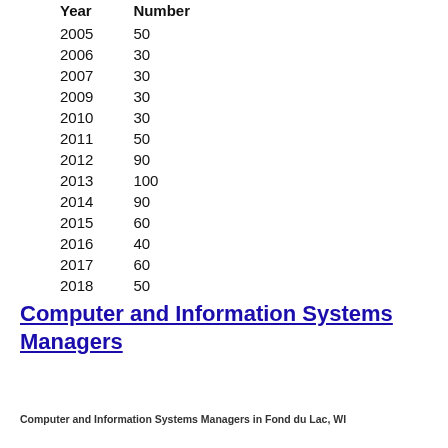| Year | Number |
| --- | --- |
| 2005 | 50 |
| 2006 | 30 |
| 2007 | 30 |
| 2009 | 30 |
| 2010 | 30 |
| 2011 | 50 |
| 2012 | 90 |
| 2013 | 100 |
| 2014 | 90 |
| 2015 | 60 |
| 2016 | 40 |
| 2017 | 60 |
| 2018 | 50 |
Computer and Information Systems Managers
Computer and Information Systems Managers in Fond du Lac, WI